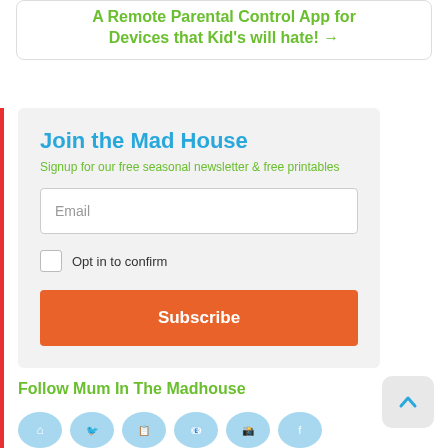A Remote Parental Control App for Devices that Kid's will hate! →
Join the Mad House
Signup for our free seasonal newsletter & free printables
Email
Opt in to confirm
Subscribe
Follow Mum In The Madhouse